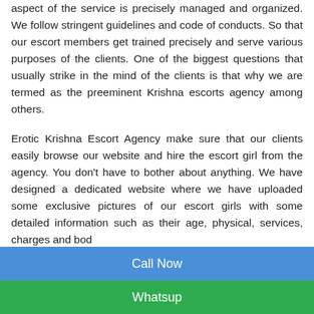aspect of the service is precisely managed and organized. We follow stringent guidelines and code of conducts. So that our escort members get trained precisely and serve various purposes of the clients. One of the biggest questions that usually strike in the mind of the clients is that why we are termed as the preeminent Krishna escorts agency among others.
Erotic Krishna Escort Agency make sure that our clients easily browse our website and hire the escort girl from the agency. You don't have to bother about anything. We have designed a dedicated website where we have uploaded some exclusive pictures of our escort girls with some detailed information such as their...
Call Now
Whatsup